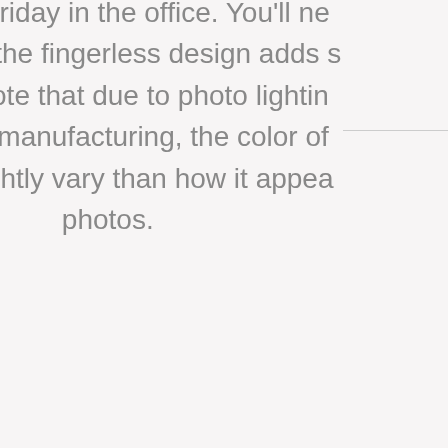the park to a casual Friday in the office. You'll ne look out of place (and the fingerless design adds s edge to your look). Note that due to photo lightin natural variations in manufacturing, the color of actual gloves may slightly vary than how it appea photos.